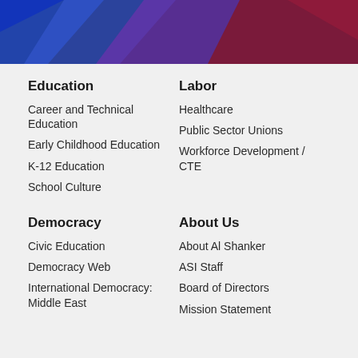[Figure (illustration): Abstract geometric header graphic with blue, purple, and dark red/maroon angular shapes on a dark background]
Education
Career and Technical Education
Early Childhood Education
K-12 Education
School Culture
Labor
Healthcare
Public Sector Unions
Workforce Development / CTE
Democracy
Civic Education
Democracy Web
International Democracy: Middle East
About Us
About Al Shanker
ASI Staff
Board of Directors
Mission Statement